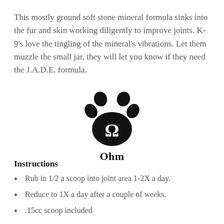This mostly ground soft stone mineral formula sinks into the fur and skin working diligently to improve joints. K-9's love the tingling of the mineral's vibrations. Let them muzzle the small jar, they will let you know if they need the J.A.D.E. formula.
[Figure (logo): A black paw print logo with an Omega symbol inside the central pad, and the word 'Ohm' in bold serif text below.]
Instructions
Rub in 1/2 a scoop into joint area 1-2X a day.
Reduce to 1X a day after a couple of weeks.
.15cc scoop included